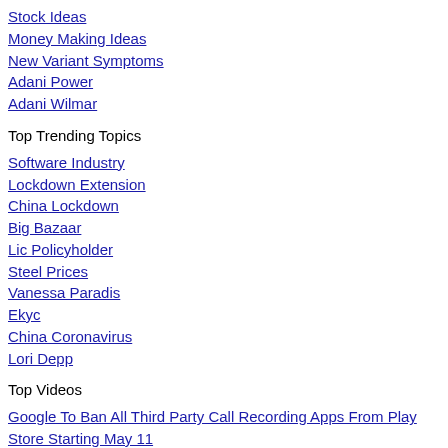Stock Ideas
Money Making Ideas
New Variant Symptoms
Adani Power
Adani Wilmar
Top Trending Topics
Software Industry
Lockdown Extension
China Lockdown
Big Bazaar
Lic Policyholder
Steel Prices
Vanessa Paradis
Ekyc
China Coronavirus
Lori Depp
Top Videos
Google To Ban All Third Party Call Recording Apps From Play Store Starting May 11
Mumbai Three Coaches Of Puducherry Express Derail Near Matunga Station No Casualty Reported